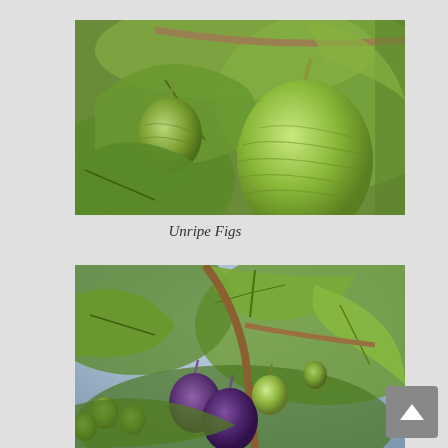[Figure (photo): Close-up photo of unripe green figs growing on a fig tree branch with large green leaves]
Unripe Figs
[Figure (photo): Photo of a fig tree branch with green leaves and figs in various stages of ripening, including purple/ripe figs and green unripe figs]
[Figure (other): Scroll-up navigation button with upward-pointing triangle arrow]